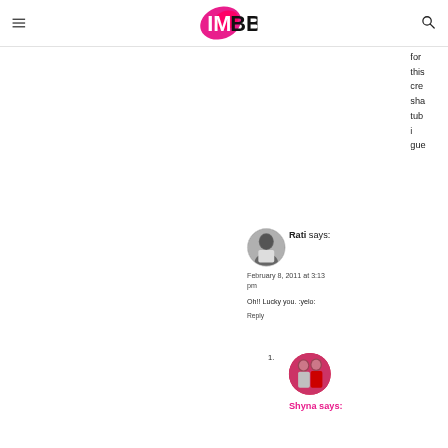IMBB (logo)
for this crea sha tub i gue
Rati says:
February 8, 2011 at 3:13 pm
Oh!! Lucky you. :yelo:
Reply
Shyna says: